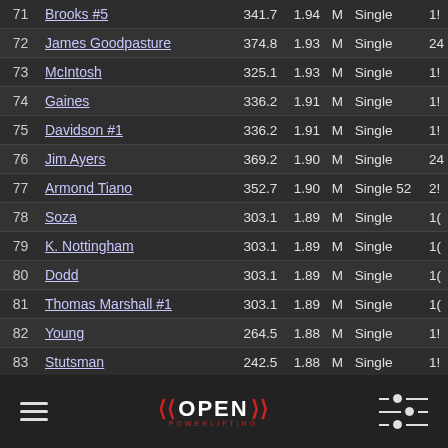| # | Name | Val1 | Val2 | G | Equip | Extra |
| --- | --- | --- | --- | --- | --- | --- |
| 71 | Brooks #5 | 341.7 | 1.94 | M | Single | 1! |
| 72 | James Goodpasture | 374.8 | 1.93 | M | Single | 24 |
| 73 | McIntosh | 325.1 | 1.93 | M | Single | 1! |
| 74 | Gaines | 336.2 | 1.91 | M | Single | 1! |
| 75 | Davidson #1 | 336.2 | 1.91 | M | Single | 1! |
| 76 | Jim Ayers | 369.2 | 1.90 | M | Single | 24 |
| 77 | Armond Tiano | 352.7 | 1.90 | M | Single 52 | 2! |
| 78 | Soza | 303.1 | 1.89 | M | Single | 1( |
| 79 | K. Nottingham | 303.1 | 1.89 | M | Single | 1( |
| 80 | Dodd | 303.1 | 1.89 | M | Single | 1( |
| 81 | Thomas Marshall #1 | 303.1 | 1.89 | M | Single | 1( |
| 82 | Young | 264.5 | 1.88 | M | Single | 1! |
| 83 | Stutsman | 242.5 | 1.88 | M | Single | 1! |
| 84 | Knight | 363.7 | 1.87 | M | Single | 24 |
| 85 | Oaks | 330.7 | 1.87 | M | Single | 1! |
| 86 | Rogers #1 | 358.2 | 1.84 | M | Single | 24 |
| 87 | Simmons | 292.1 | 1.82 | M | Single | 1( |
| 88 | Ludwig | 319.6 | 1.81 | M | Single | 1! |
[Figure (logo): Open Powerlifting logo with barbells and text]